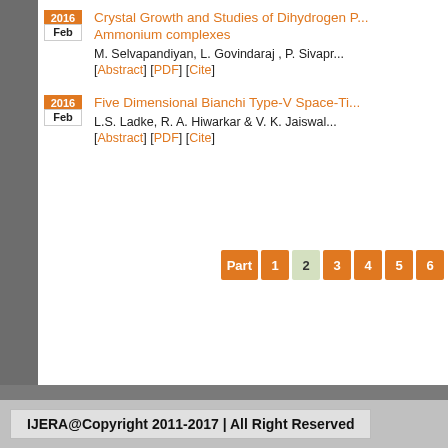2016 Feb | Crystal Growth and Studies of Dihydrogen P... Ammonium complexes | M. Selvapandiyan, L. Govindaraj , P. Sivapr... | [Abstract] [PDF] [Cite]
2016 Feb | Five Dimensional Bianchi Type-V Space-Ti... | L.S. Ladke, R. A. Hiwarkar & V. K. Jaiswal | [Abstract] [PDF] [Cite]
Part 1 2 3 4 5 6
IJERA@Copyright 2011-2017 | All Right Reserved